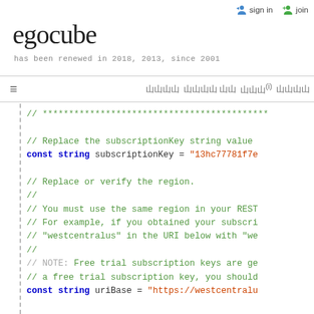sign in   join
egocube
has been renewed in 2018, 2013, since 2001
≡  (nav items)
[Figure (screenshot): Code snippet showing C# code with comments about subscriptionKey and uriBase configuration, and a static void Main() method beginning.]